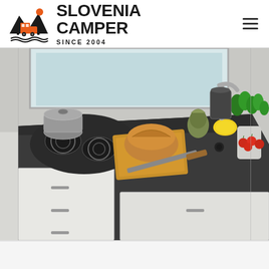[Figure (logo): Slovenia Camper logo with mountains, trees, a camper van in orange, and wavy water lines beneath, in black and orange colors]
SLOVENIA CAMPER
SINCE 2004
[Figure (photo): Interior camper van kitchen counter with gas stove, bread loaf on cutting board, artichoke, lemon, cherry tomatoes, fresh basil plant, knife, and white cabinet drawers below a dark countertop]